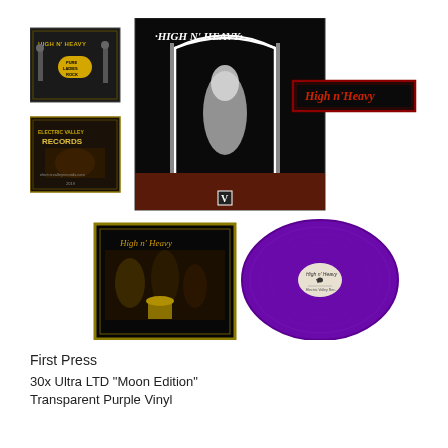[Figure (photo): Product photo showing High N' Heavy vinyl record bundle: large black album cover with arch design and ghost figure, two small stickers (one with band name and one with Electric Valley Records logo), a red/black band name patch, inner sleeve with band photo, and transparent purple vinyl record]
First Press
30x Ultra LTD "Moon Edition"
Transparent Purple Vinyl